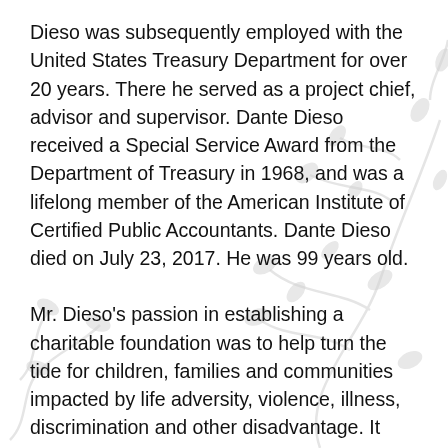Dieso was subsequently employed with the United States Treasury Department for over 20 years. There he served as a project chief, advisor and supervisor. Dante Dieso received a Special Service Award from the Department of Treasury in 1968, and was a lifelong member of the American Institute of Certified Public Accountants. Dante Dieso died on July 23, 2017. He was 99 years old.
Mr. Dieso's passion in establishing a charitable foundation was to help turn the tide for children, families and communities impacted by life adversity, violence, illness, discrimination and other disadvantage. It was his particular wish to direct his legacy toward "filling the gaps" left by larger foundations.